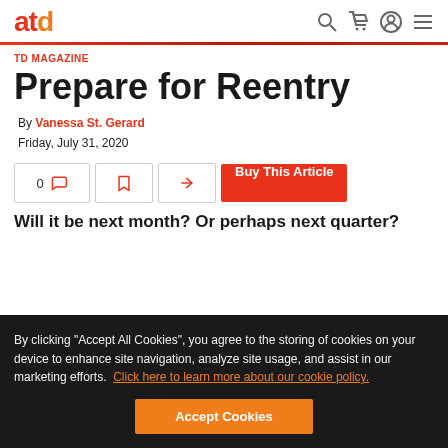atd — TD Magazine website navigation
TD MAGAZINE
Prepare for Reentry
By Vanessa St. Gerard
Friday, July 31, 2020
0 [comment] [bookmark] [share] Buy This Article
Will it be next month? Or perhaps next quarter?
By clicking "Accept All Cookies", you agree to the storing of cookies on your device to enhance site navigation, analyze site usage, and assist in our marketing efforts. Click here to learn more about our cookie policy.
Accept Cookies